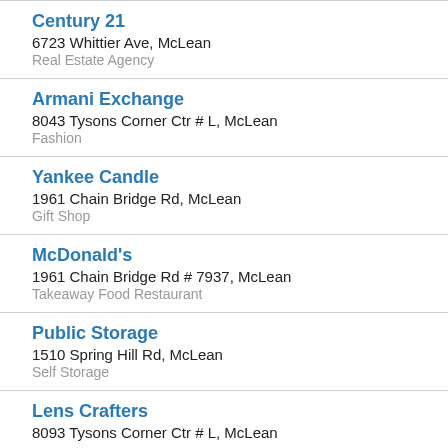Century 21
6723 Whittier Ave, McLean
Real Estate Agency
Armani Exchange
8043 Tysons Corner Ctr # L, McLean
Fashion
Yankee Candle
1961 Chain Bridge Rd, McLean
Gift Shop
McDonald's
1961 Chain Bridge Rd # 7937, McLean
Takeaway Food Restaurant
Public Storage
1510 Spring Hill Rd, McLean
Self Storage
Lens Crafters
8093 Tysons Corner Ctr # L, McLean